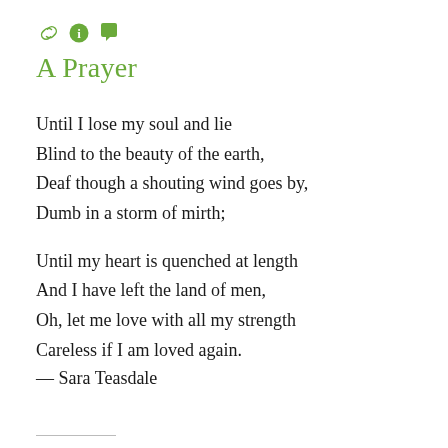[Figure (other): Three small green icons: a link/chain icon, an info circle icon, and a speech bubble icon]
A Prayer
Until I lose my soul and lie
Blind to the beauty of the earth,
Deaf though a shouting wind goes by,
Dumb in a storm of mirth;
Until my heart is quenched at length
And I have left the land of men,
Oh, let me love with all my strength
Careless if I am loved again.
— Sara Teasdale